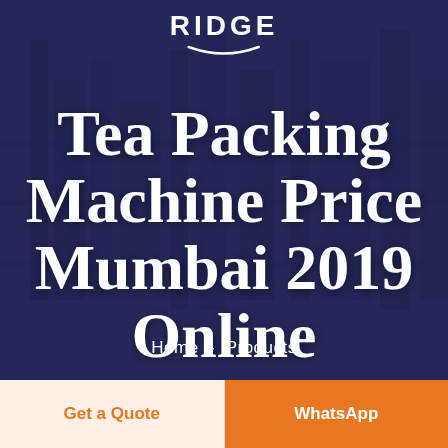[Figure (photo): Dark blue/purple tinted industrial machinery background photo with manufacturing equipment visible]
RIDGE
Tea Packing Machine Price Mumbai 2019 Online
Home - Products